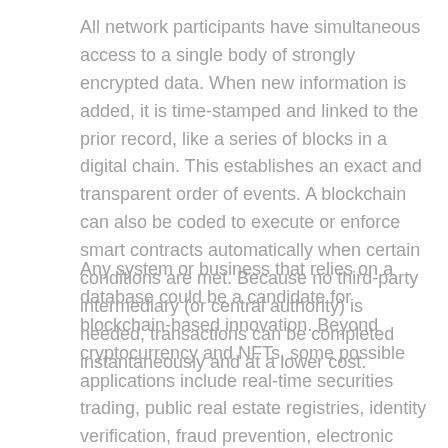All network participants have simultaneous access to a single body of strongly encrypted data. When new information is added, it is time-stamped and linked to the prior record, like a series of blocks in a digital chain. This establishes an exact and transparent order of events. A blockchain can also be coded to execute or enforce smart contracts automatically when certain conditions are met. Because no third-party intermediary (or central authority) is needed, transactions can be completed instantaneously and at a lower cost.
Any system or business that relies on a database could be a candidate for blockchain-based innovation. Beyond cryptocurrency and NFTs, some possible applications include real-time securities trading, public real estate registries, identity verification, fraud prevention, electronic medical records, supply-chain tracking, and online voting, among others.